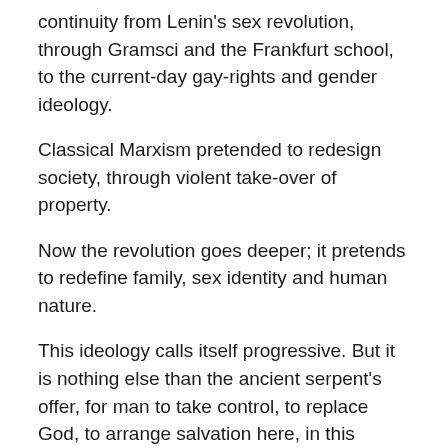continuity from Lenin's sex revolution, through Gramsci and the Frankfurt school, to the current-day gay-rights and gender ideology.
Classical Marxism pretended to redesign society, through violent take-over of property.
Now the revolution goes deeper; it pretends to redefine family, sex identity and human nature.
This ideology calls itself progressive. But it is nothing else than the ancient serpent's offer, for man to take control, to replace God, to arrange salvation here, in this world.
It's an error of religious nature, it's Gnosticism.
It's the task of the shepherds to recognize it, and warn the flock against this danger.